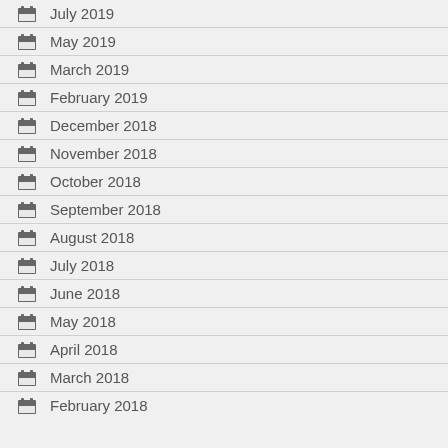July 2019
May 2019
March 2019
February 2019
December 2018
November 2018
October 2018
September 2018
August 2018
July 2018
June 2018
May 2018
April 2018
March 2018
February 2018